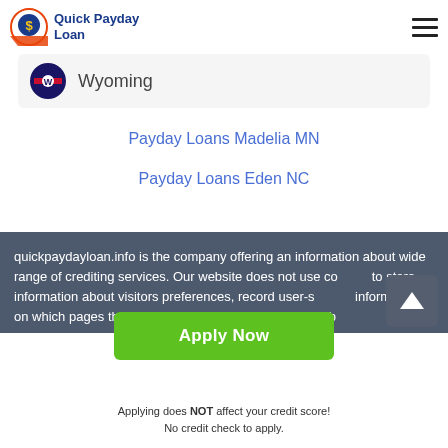Quick Payday Loan
Wyoming
Payday Loans Madelia MN
Payday Loans Eden NC
quickpaydayloan.info is the company offering an information about wide range of crediting services. Our website does not use cookies to store information about visitors preferences, record user-specific information on which pages the user access or visit, customize Web
Apply Now
Applying does NOT affect your credit score!
No credit check to apply.